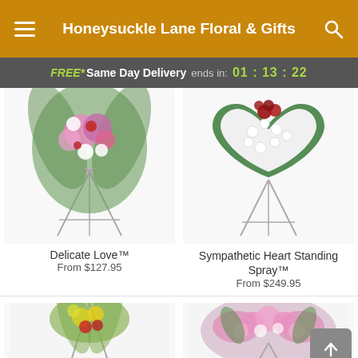Honeysuckle Lane Floral & Gifts
FREE* Same Day Delivery ends in: 01 : 13 : 22
[Figure (photo): Delicate Love floral spray arrangement on a standing easel with pink, purple, red and white flowers]
Delicate Love™
From $127.95
[Figure (photo): Sympathetic Heart Standing Spray — white heart-shaped floral arrangement with red accent flowers on an easel]
Sympathetic Heart Standing Spray™
From $249.95
[Figure (photo): Partial view of a green and yellow floral arrangement on a standing easel, bottom of page]
[Figure (photo): Partial view of a pink floral standing spray arrangement, bottom right of page]